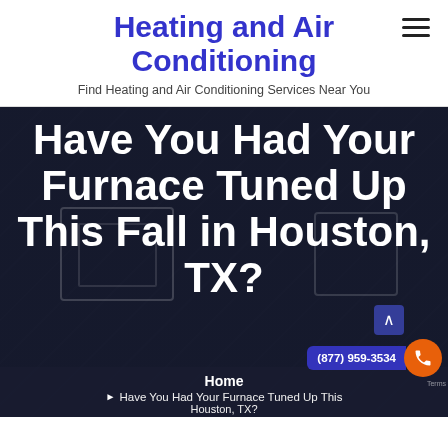Heating and Air Conditioning
Find Heating and Air Conditioning Services Near You
Have You Had Your Furnace Tuned Up This Fall in Houston, TX?
[Figure (screenshot): Dark hero image of a furnace/HVAC unit in a building, dimmed with overlay]
Home
Have You Had Your Furnace Tuned Up This Fall in Houston, TX?
(877) 959-3534